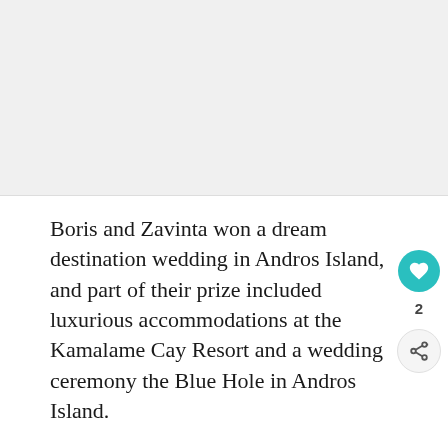[Figure (photo): Large photo area at top of page (content not visible in this crop, appears as light grey/white area)]
Boris and Zavinta won a dream destination wedding in Andros Island, and part of their prize included luxurious accommodations at the Kamalame Cay Resort and a wedding ceremony the Blue Hole in Andros Island.
We had quite a bit of time to relax and Kamalame Cay before the wedding, and Boris and Zavinta...